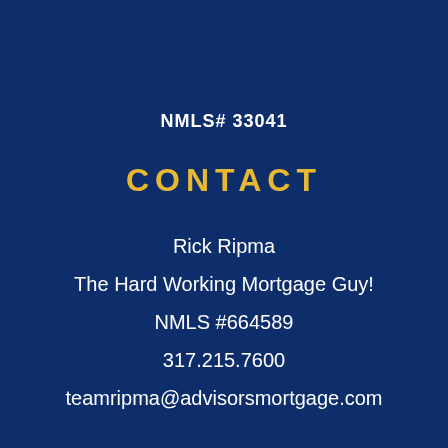NMLS# 33041
CONTACT
Rick Ripma
The Hard Working Mortgage Guy!
NMLS #664589
317.215.7600
teamripma@advisorsmortgage.com